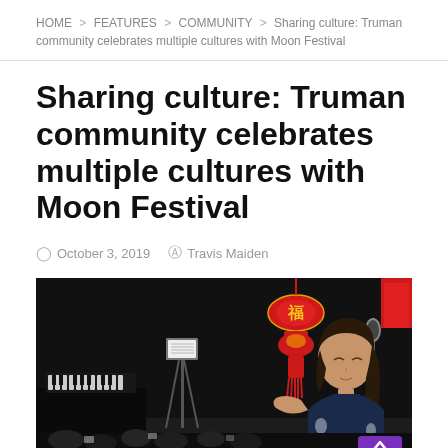HOME > FEATURES > COMMUNITY > Sharing culture: Truman community celebrates multiple cultures with Moon Festival
Sharing culture: Truman community celebrates multiple cultures with Moon Festival
October 3, 2019   Travis Maiden
[Figure (photo): A young woman playing piano on a dark stage with red Chinese decorative lanterns/knots in the background, audience visible in background]